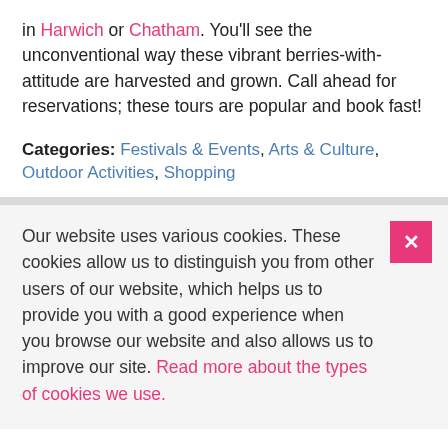in Harwich or Chatham. You'll see the unconventional way these vibrant berries-with-attitude are harvested and grown. Call ahead for reservations; these tours are popular and book fast!
Categories: Festivals & Events, Arts & Culture, Outdoor Activities, Shopping
Our website uses various cookies. These cookies allow us to distinguish you from other users of our website, which helps us to provide you with a good experience when you browse our website and also allows us to improve our site. Read more about the types of cookies we use.